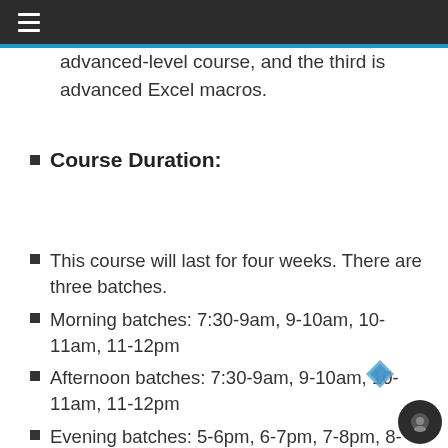☰
advanced-level course, and the third is advanced Excel macros.
Course Duration:
This course will last for four weeks. There are three batches.
Morning batches: 7:30-9am, 9-10am, 10-11am, 11-12pm
Afternoon batches: 7:30-9am, 9-10am, 10-11am, 11-12pm
Evening batches: 5-6pm, 6-7pm, 7-8pm, 8-9pm.
Weekend and fast track batches are available allowing you to complete the course in a shorter amount of time.